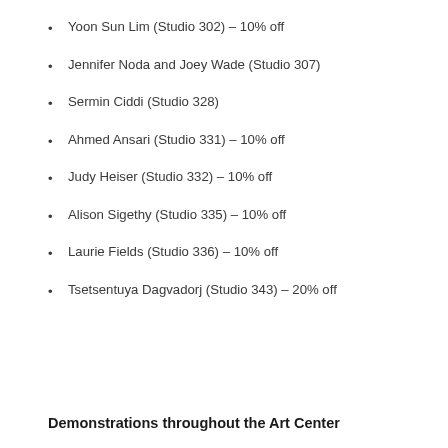Yoon Sun Lim (Studio 302) – 10% off
Jennifer Noda and Joey Wade (Studio 307)
Sermin Ciddi (Studio 328)
Ahmed Ansari (Studio 331) – 10% off
Judy Heiser (Studio 332) – 10% off
Alison Sigethy (Studio 335) – 10% off
Laurie Fields (Studio 336) – 10% off
Tsetsentuya Dagvadorj (Studio 343) – 20% off
Demonstrations throughout the Art Center